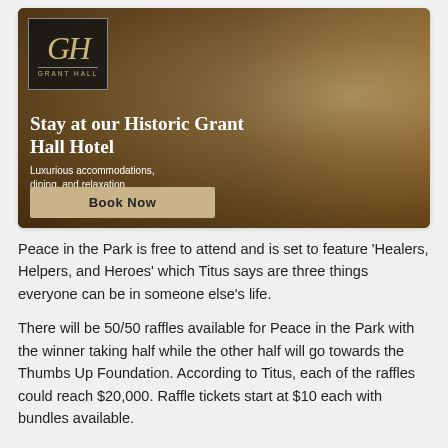[Figure (photo): Advertisement for Grant Hall Hotel showing a hotel room with golden armchairs and ornate rug. Overlaid text: 'Stay at our Historic Grant Hall Hotel', 'Luxurious accommodations, dining, and relaxation', and a 'Book Now' button. Grant Hall logo (GH monogram) in top left corner.]
Peace in the Park is free to attend and is set to feature 'Healers, Helpers, and Heroes' which Titus says are three things everyone can be in someone else's life.
There will be 50/50 raffles available for Peace in the Park with the winner taking half while the other half will go towards the Thumbs Up Foundation. According to Titus, each of the raffles could reach $20,000. Raffle tickets start at $10 each with bundles available.